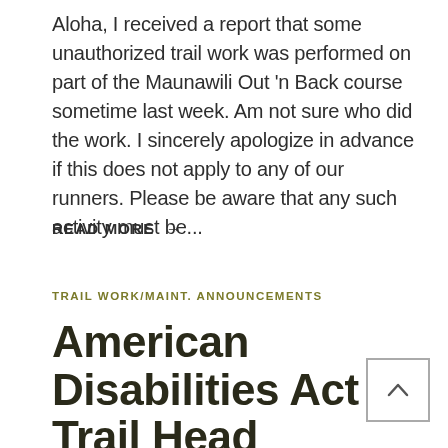Aloha, I received a report that some unauthorized trail work was performed on part of the Maunawili Out 'n Back course sometime last week. Am not sure who did the work. I sincerely apologize in advance if this does not apply to any of our runners. Please be aware that any such activity must be...
READ MORE →
TRAIL WORK/MAINT. ANNOUNCEMENTS
American Disabilities Act – Trail Head Compliance